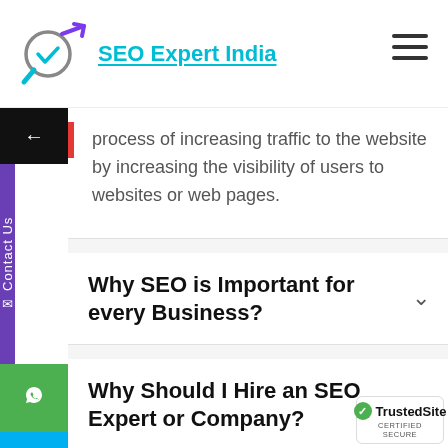SEO Expert India
process of increasing traffic to the website by increasing the visibility of users to websites or web pages.
Why SEO is Important for every Business?
Why Should I Hire an SEO Expert or Company?